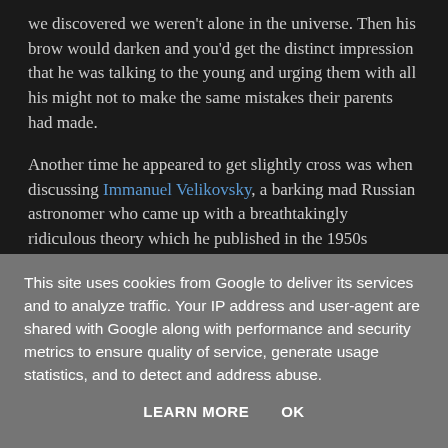we discovered we weren't alone in the universe. Then his brow would darken and you'd get the distinct impression that he was talking to the young and urging them with all his might not to make the same mistakes their parents had made.
Another time he appeared to get slightly cross was when discussing Immanuel Velikovsky, a barking mad Russian astronomer who came up with a breathtakingly ridiculous theory which he published in the 1950s bestseller Worlds in Collision. This book was by all accounts a von Daniken-esque flight of fancy in which he postulates that conditions in the Solar System were more like a game of interplanetary bar
This site uses cookies from Google to deliver its services and to analyze traffic. Your IP address and user-agent are shared with Google along with performance and security metrics to ensure quality of service, generate usage statistics, and to detect and address abuse.
LEARN MORE    OK